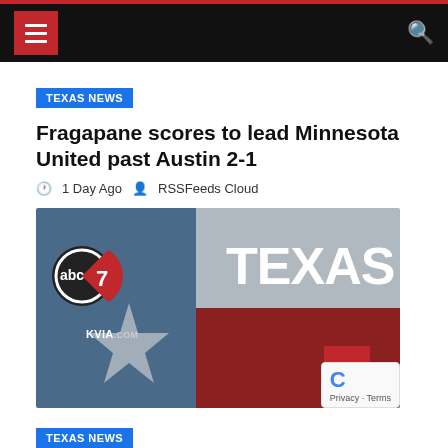Navigation header with menu and search
TEXAS NEWS
Fragapane scores to lead Minnesota United past Austin 2-1
1 Day Ago  RSSFeeds Cloud
[Figure (photo): ABC7 KVIA.com Texas flag themed graphic with the word TEXAS on a brick wall background in Texas flag colors (blue, white/gray, red). Features abc7 and KVIA.com logo on the left side with a star.]
TEXAS NEWS